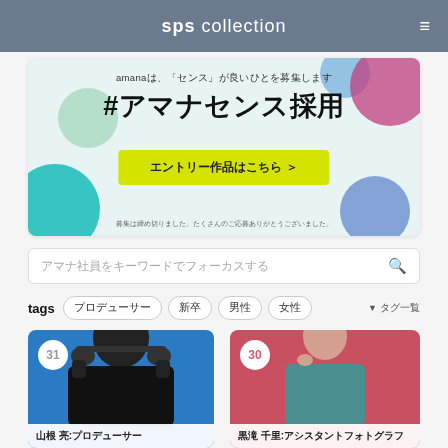sps collection
[Figure (photo): amanaは、「センス」が良いひとを募集します #アマナセンス採用 エントリー作品はこちら ＞ banner]
アマナ社員をキーワードでフォーカスする
tags プロデューサー 新卒 男性 女性 ▼ タグ一覧
[Figure (photo): Card 31 - 山根 亮: プロデューサー, man with headphones on blue background]
[Figure (photo): Card 30 - 黒滝 千里: アシスタントフォトグラフ, woman in teal top on pink background]